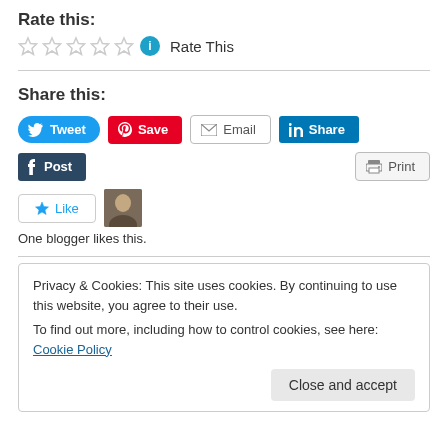Rate this:
Rate This
Share this:
[Figure (other): Social share buttons: Tweet, Save, Email, Share (LinkedIn), Post (Tumblr), Print]
[Figure (other): Like button with star icon and blogger avatar thumbnail]
One blogger likes this.
Privacy & Cookies: This site uses cookies. By continuing to use this website, you agree to their use.
To find out more, including how to control cookies, see here: Cookie Policy
Close and accept